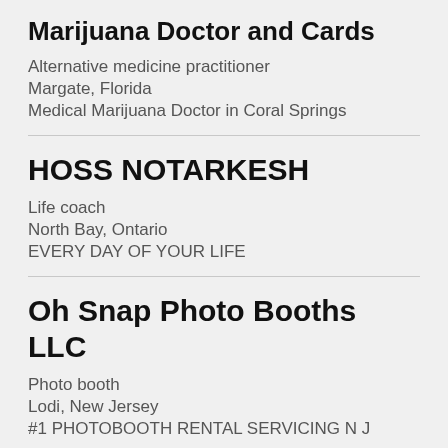Marijuana Doctor and Cards
Alternative medicine practitioner
Margate, Florida
Medical Marijuana Doctor in Coral Springs
HOSS NOTARKESH
Life coach
North Bay, Ontario
EVERY DAY OF YOUR LIFE
Oh Snap Photo Booths LLC
Photo booth
Lodi, New Jersey
#1 PHOTOBOOTH RENTAL SERVICING N J